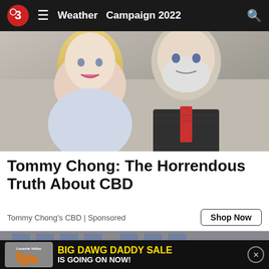Weather  Campaign 2022
[Figure (photo): Photo of a smiling blonde woman and an older man with a white beard, both smiling at the camera]
Tommy Chong: The Horrendous Truth About CBD
Tommy Chong's CBD | Sponsored
[Figure (photo): Photo of building sign reading SOUTHERN STATE CORRECTIONAL FACILITY]
[Figure (infographic): Advertisement banner: BIG DAWG DADDY SALE IS GOING ON NOW! with Laramie Valley logo and dog image]